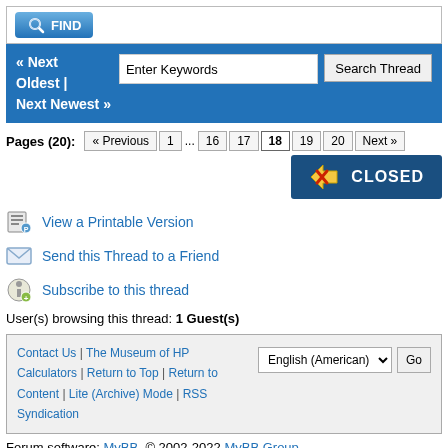[Figure (screenshot): FIND button with magnifying glass icon]
« Next Oldest | Next Newest »
Enter Keywords  Search Thread
Pages (20): « Previous 1 ... 16 17 18 19 20 Next »
[Figure (other): CLOSED button with red X icon]
View a Printable Version
Send this Thread to a Friend
Subscribe to this thread
User(s) browsing this thread: 1 Guest(s)
Contact Us | The Museum of HP Calculators | Return to Top | Return to Content | Lite (Archive) Mode | RSS Syndication
Forum software: MyBB, © 2002-2022 MyBB Group.